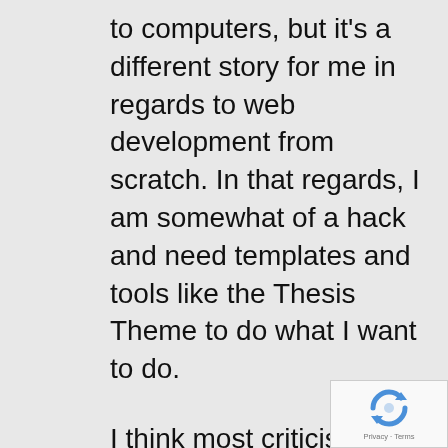to computers, but it's a different story for me in regards to web development from scratch. In that regards, I am somewhat of a hack and need templates and tools like the Thesis Theme to do what I want to do.
I think most criticism comes from fear. Fear of losing income, fear of becoming obsolete. I've seem creative geniuses create some wonderful looking website that are
[Figure (logo): reCAPTCHA logo badge with Privacy and Terms links]